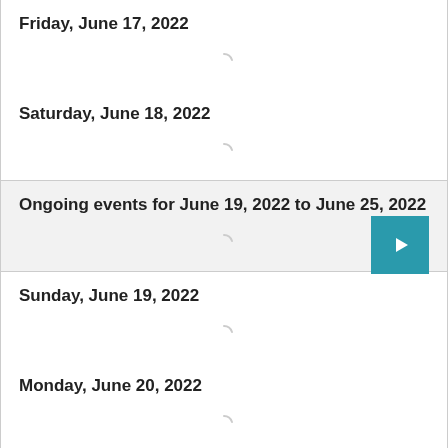Friday, June 17, 2022
Saturday, June 18, 2022
Ongoing events for June 19, 2022 to June 25, 2022
Sunday, June 19, 2022
Monday, June 20, 2022
Tuesday, June 21, 2022